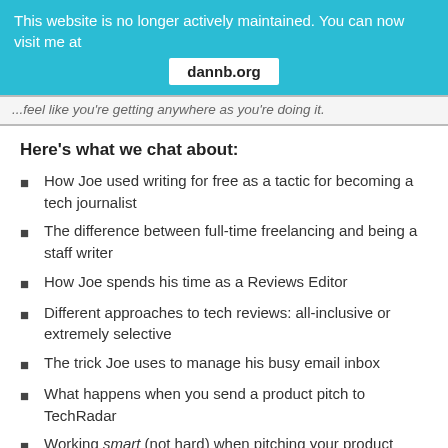This website is no longer actively maintained. You can now visit me at dannb.org
...feel like you're getting anywhere as you're doing it.
Here's what we chat about:
How Joe used writing for free as a tactic for becoming a tech journalist
The difference between full-time freelancing and being a staff writer
How Joe spends his time as a Reviews Editor
Different approaches to tech reviews: all-inclusive or extremely selective
The trick Joe uses to manage his busy email inbox
What happens when you send a product pitch to TechRadar
Working smart (not hard) when pitching your product